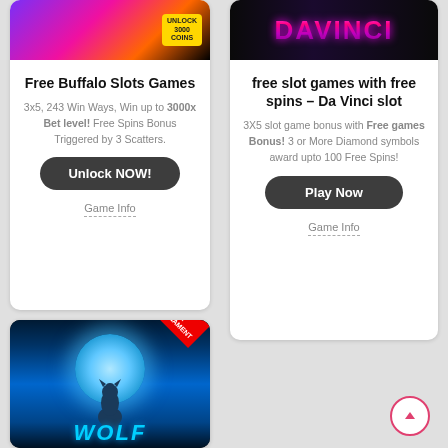[Figure (illustration): Buffalo Slots game banner with purple/pink lighting and coins badge showing UNLOCK 3000 COINS]
Free Buffalo Slots Games
3x5, 243 Win Ways, Win up to 3000x Bet level! Free Spins Bonus Triggered by 3 Scatters.
Unlock NOW!
Game Info
[Figure (illustration): Da Vinci slot game banner with purple/pink neon text DAVINCI on dark background]
free slot games with free spins – Da Vinci slot
3X5 slot game bonus with Free games Bonus! 3 or More Diamond symbols award upto 100 Free Spins!
Play Now
Game Info
[Figure (illustration): Wolf howling at moon slot game image with blue glow, LIVE TOURNAMENT red badge in corner, WOLF text at bottom]